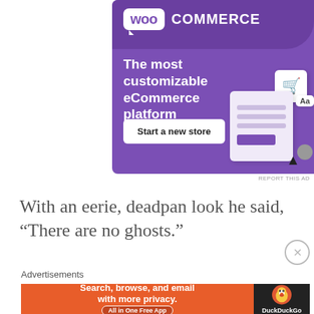[Figure (screenshot): WooCommerce advertisement banner with purple background, logo, tagline 'The most customizable eCommerce platform', 'Start a new store' button, and UI mockup illustration]
REPORT THIS AD
With an eerie, deadpan look he said, “There are no ghosts.”
Advertisements
[Figure (screenshot): DuckDuckGo advertisement: 'Search, browse, and email with more privacy. All in One Free App' on orange background with DuckDuckGo logo on dark background]